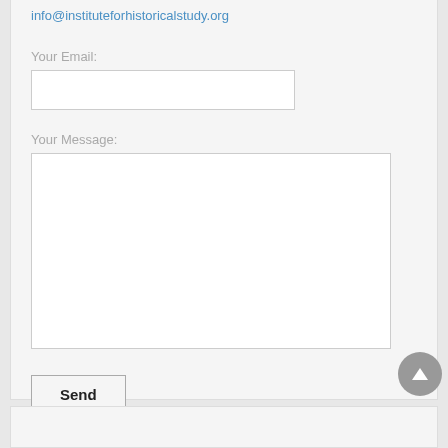info@instituteforhistoricalstudy.org
Your Email:
Your Message:
Send